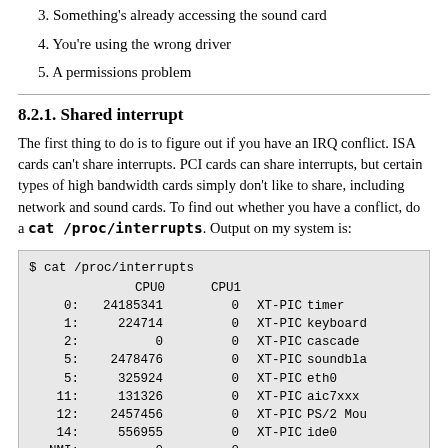3. Something's already accessing the sound card
4. You're using the wrong driver
5. A permissions problem
8.2.1. Shared interrupt
The first thing to do is to figure out if you have an IRQ conflict. ISA cards can't share interrupts. PCI cards can share interrupts, but certain types of high bandwidth cards simply don't like to share, including network and sound cards. To find out whether you have a conflict, do a cat /proc/interrupts. Output on my system is:
|  | CPU0 | CPU1 |  |  |
| --- | --- | --- | --- | --- |
| $ cat /proc/interrupts |  |  |  |  |
|  | CPU0 | CPU1 |  |  |
| 0: | 24185341 | 0 | XT-PIC | timer |
| 1: | 224714 | 0 | XT-PIC | keyboard |
| 2: | 0 | 0 | XT-PIC | cascade |
| 5: | 2478476 | 0 | XT-PIC | soundbla |
| 5: | 325924 | 0 | XT-PIC | eth0 |
| 11: | 131326 | 0 | XT-PIC | aic7xxx |
| 12: | 2457456 | 0 | XT-PIC | PS/2 Mou |
| 14: | 556955 | 0 | XT-PIC | ide0 |
| NMI: | 0 | 0 |  |  |
| LOC: | 24186046 | 24186026 |  |  |
| ERR: | 1058 |  |  |  |